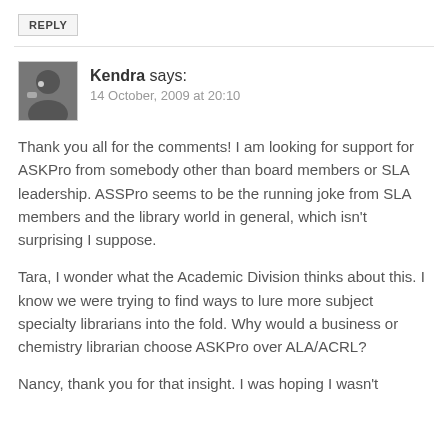REPLY
Kendra says: 14 October, 2009 at 20:10
Thank you all for the comments! I am looking for support for ASKPro from somebody other than board members or SLA leadership. ASSPro seems to be the running joke from SLA members and the library world in general, which isn't surprising I suppose.
Tara, I wonder what the Academic Division thinks about this. I know we were trying to find ways to lure more subject specialty librarians into the fold. Why would a business or chemistry librarian choose ASKPro over ALA/ACRL?
Nancy, thank you for that insight. I was hoping I wasn't